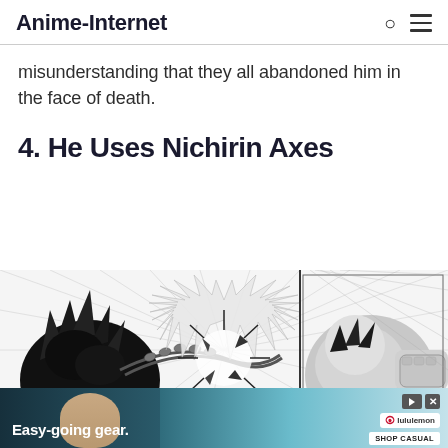Anime-Internet
misunderstanding that they all abandoned him in the face of death.
4. He Uses Nichirin Axes
[Figure (illustration): Black and white manga panel showing an explosive action scene with a character wielding axes, with dynamic speed lines and impact effects.]
[Figure (photo): Advertisement banner for lululemon showing a woman smiling with the text 'Easy-going gear.' and a 'SHOP CASUAL' button.]